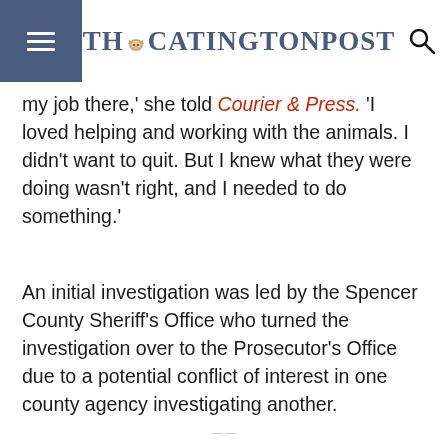THE CATINGTON POST
my job there,' she told Courier & Press. 'I loved helping and working with the animals. I didn't want to quit. But I knew what they were doing wasn't right, and I needed to do something.'
An initial investigation was led by the Spencer County Sheriff's Office who turned the investigation over to the Prosecutor's Office due to a potential conflict of interest in one county agency investigating another.